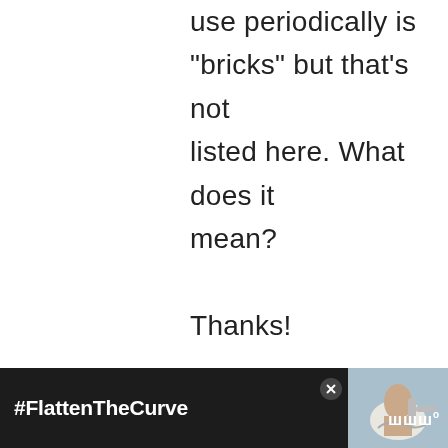use periodically is “bricks” but that’s not listed here. What does it mean?

Thanks!

Ellen
Reply
[Figure (other): Share button (circular white button with share icon)]
[Figure (other): What's Next widget showing an article thumbnail with text '11 MORE 20 Mule Team...']
DIAN SAYS
[Figure (other): Advertisement banner: dark background with '#FlattenTheCurve' text, image of hands being washed, and a logo on the right]